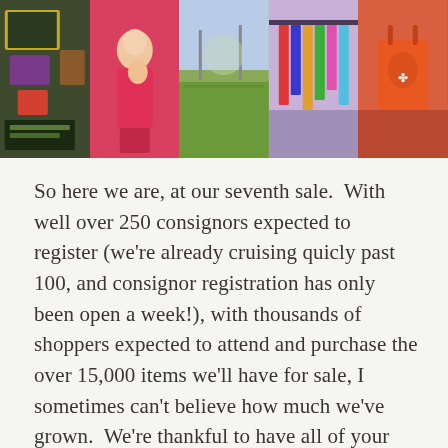[Figure (photo): A strip of five photos showing scenes from a children's consignment sale event: display boards with items, a parent carrying a child in a carrier, an outdoor event field, a rack of costumes/clothing, and a person holding orange shopping bags.]
So here we are, at our seventh sale.  With well over 250 consignors expected to register (we're already cruising quicly past 100, and consignor registration has only been open a week!), with thousands of shoppers expected to attend and purchase the over 15,000 items we'll have for sale, I sometimes can't believe how much we've grown.  We're thankful to have all of your continued support in spreading the news about the parenting, budgeting and (hopefully) sanity-saving resource that has become Half-Pint Resale.  And we want to invite you to become a